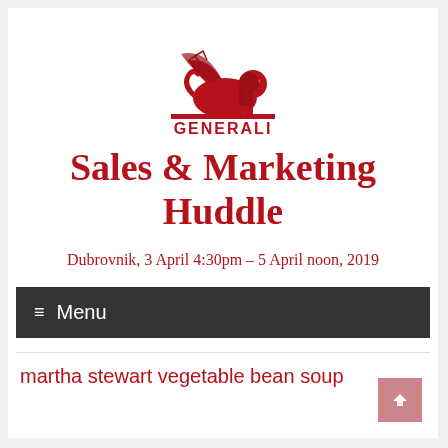[Figure (logo): Generali winged lion logo in red with GENERALI text beneath]
Sales & Marketing Huddle
Dubrovnik, 3 April 4:30pm – 5 April noon, 2019
≡ Menu
martha stewart vegetable bean soup